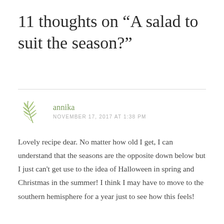11 thoughts on “A salad to suit the season?”
annika
NOVEMBER 17, 2017 AT 1:38 PM
Lovely recipe dear. No matter how old I get, I can understand that the seasons are the opposite down below but I just can't get use to the idea of Halloween in spring and Christmas in the summer! I think I may have to move to the southern hemisphere for a year just to see how this feels!